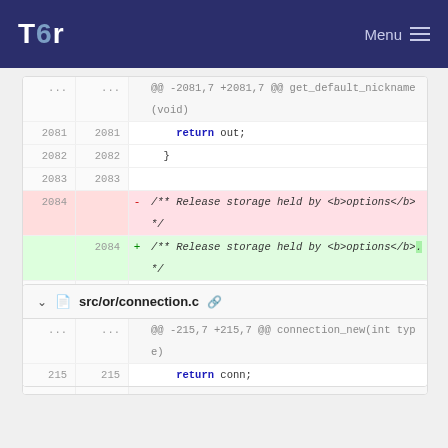Tor — Menu
[Figure (screenshot): Git diff view showing code changes in a Tor project file. Lines 2081-2087 shown. Line 2084 changed: removed '/** Release storage held by <b>options</b> */' and added '/** Release storage held by <b>options</b>. */' (added period). Lines 2085-2087 show static void config_free function declaration.]
src/or/connection.c
[Figure (screenshot): Git diff view for src/or/connection.c showing hunk @@ -215,7 +215,7 @@ connection_new(int type). Line 215: return conn;]